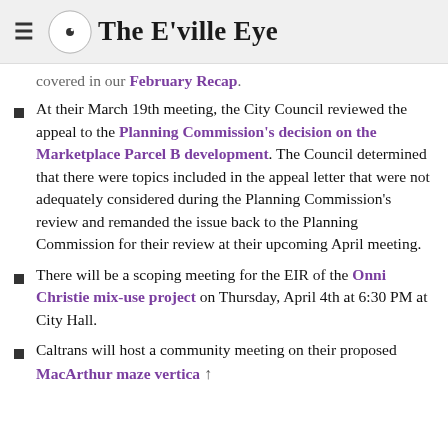The E'ville Eye
covered in our February Recap.
At their March 19th meeting, the City Council reviewed the appeal to the Planning Commission's decision on the Marketplace Parcel B development. The Council determined that there were topics included in the appeal letter that were not adequately considered during the Planning Commission's review and remanded the issue back to the Planning Commission for their review at their upcoming April meeting.
There will be a scoping meeting for the EIR of the Onni Christie mix-use project on Thursday, April 4th at 6:30 PM at City Hall.
Caltrans will host a community meeting on their proposed MacArthur maze vertica